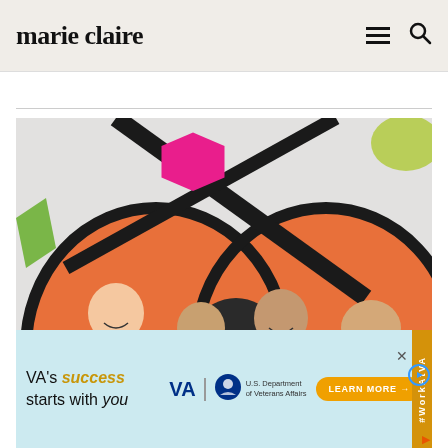marie claire
[Figure (photo): Four people (two men, two women) posing in front of a colorful street mural with orange, black, and green geometric shapes. The men wear suits; the women wear formal attire. A pink hexagon shape is visible in the upper left of the mural.]
[Figure (infographic): Advertisement banner: VA's success starts with you. VA / U.S. Department of Veterans Affairs logo. LEARN MORE button. #WorkAtVA side tag.]